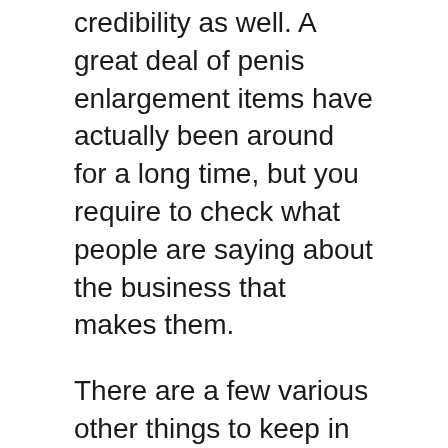credibility as well. A great deal of penis enlargement items have actually been around for a long time, but you require to check what people are saying about the business that makes them.
There are a few various other things to keep in mind when searching for penis enhancement products. If the system is endorsed by a medical professional or a doctor, you can be rather sure that it will function – so you do not squander your cash on something that simply might not work.
One more point that you should think of when looking for the very best penis extender is if the items that are readily